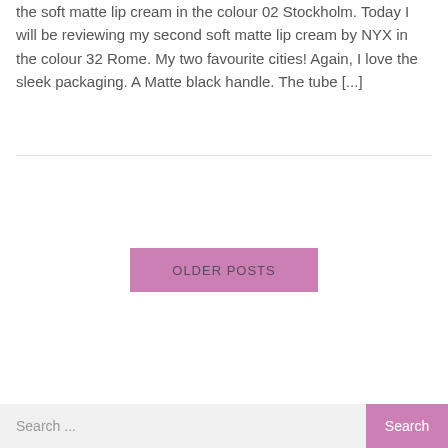the soft matte lip cream in the colour 02 Stockholm. Today I will be reviewing my second soft matte lip cream by NYX in the colour 32 Rome. My two favourite cities! Again, I love the sleek packaging. A Matte black handle. The tube [...]
OLDER POSTS
Search ...
Search